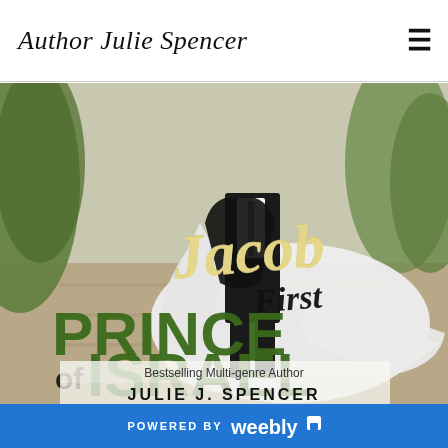Author Julie Spencer
[Figure (photo): Book cover of 'Jacob First Prince of Israel' by Julie J. Spencer. Background shows a couple in wedding attire (bride in white gown, groom in black suit) in an outdoor garden setting. Text overlay shows 'Jacob First PRINCE of ISRAEL' with 'Bestselling Multi-genre Author JULIE J. SPENCER' at the bottom.]
POWERED BY weebly